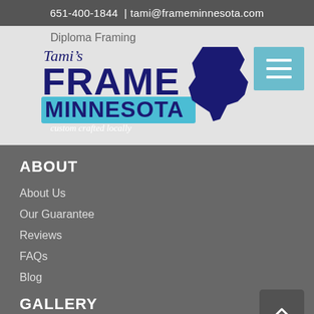651-400-1844  | tami@frameminnesota.com
[Figure (logo): Tami's Frame Minnesota custom crafted locally logo with Minnesota state silhouette, dark navy and light blue colors]
Diploma Framing
ABOUT
About Us
Our Guarantee
Reviews
FAQs
Blog
GALLERY